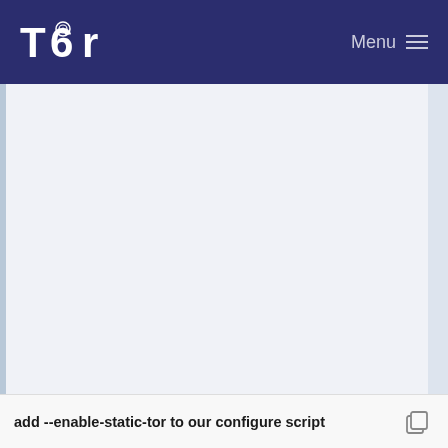Tor Menu
[Figure (other): Large blank/whitespace content area with light blue-grey background, left blue border bar, and right scrollbar area]
add --enable-static-tor to our configure script